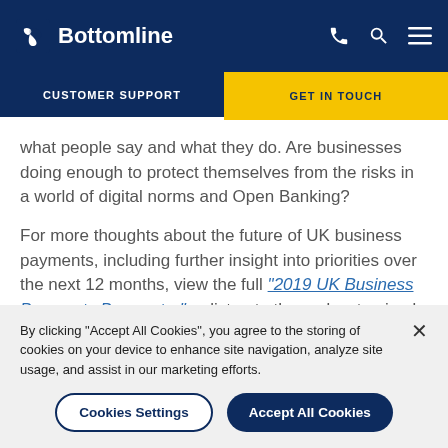Bottomline
CUSTOMER SUPPORT | GET IN TOUCH
what people say and what they do. Are businesses doing enough to protect themselves from the risks in a world of digital norms and Open Banking?
For more thoughts about the future of UK business payments, including further insight into priorities over the next 12 months, view the full “2019 UK Business Payments Barometer” or listen to the podcast episode
By clicking “Accept All Cookies”, you agree to the storing of cookies on your device to enhance site navigation, analyze site usage, and assist in our marketing efforts.
Cookies Settings | Accept All Cookies